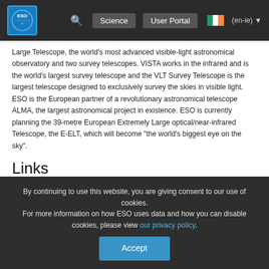ESO navigation bar with logo, search, Science, User Portal, and (en-ie) locale
Large Telescope, the world’s most advanced visible-light astronomical observatory and two survey telescopes. VISTA works in the infrared and is the world’s largest survey telescope and the VLT Survey Telescope is the largest telescope designed to exclusively survey the skies in visible light. ESO is the European partner of a revolutionary astronomical telescope ALMA, the largest astronomical project in existence. ESO is currently planning the 39-metre European Extremely Large optical/near-infrared Telescope, the E-ELT, which will become “the world’s biggest eye on the sky”.
Links
More about ALMA at ESO
The Joint ALMA Observatory
By continuing to use this website, you are giving consent to our use of cookies.
For more information on how ESO uses data and how you can disable cookies, please view our privacy policy.